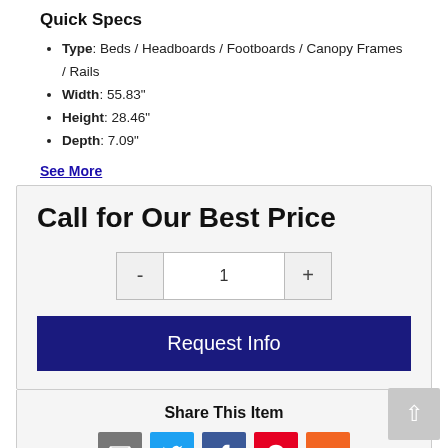Quick Specs
Type: Beds / Headboards / Footboards / Canopy Frames / Rails
Width: 55.83"
Height: 28.46"
Depth: 7.09"
See More
Call for Our Best Price
1
Request Info
Share This Item